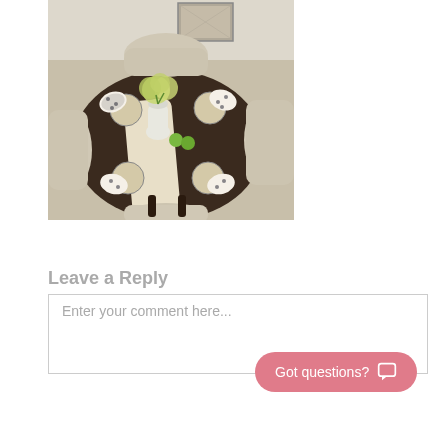[Figure (photo): A round dark wood dining table set for four people viewed from above at an angle. The table has a beige linen table runner, patterned black and white folded napkins on plates, and a centerpiece with a white vase of green/yellow hydrangea flowers and two green apples. Beige upholstered chairs surround the table. In the background there is a framed picture on the wall.]
Leave a Reply
Enter your comment here...
Got questions?